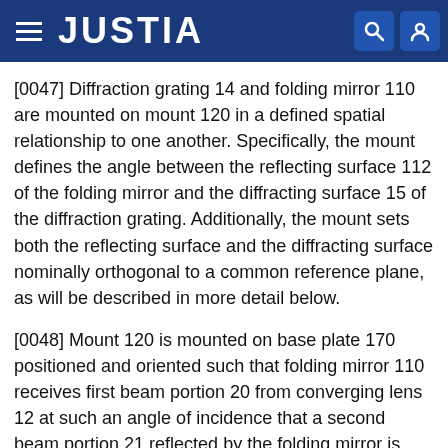JUSTIA
[0047] Diffraction grating 14 and folding mirror 110 are mounted on mount 120 in a defined spatial relationship to one another. Specifically, the mount defines the angle between the reflecting surface 112 of the folding mirror and the diffracting surface 15 of the diffraction grating. Additionally, the mount sets both the reflecting surface and the diffracting surface nominally orthogonal to a common reference plane, as will be described in more detail below.
[0048] Mount 120 is mounted on base plate 170 positioned and oriented such that folding mirror 110 receives first beam portion 20 from converging lens 12 at such an angle of incidence that a second beam portion 21 reflected by the folding mirror is incident on diffraction grating 14. The position and orientation of the mount are additionally such that third beam portion